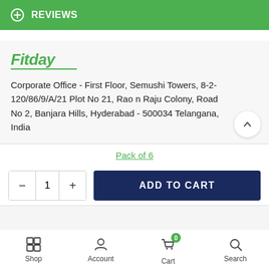REVIEWS
[Figure (logo): Fitday brand logo in italic green text with green underline]
Corporate Office - First Floor, Semushi Towers, 8-2-120/86/9/A/21 Plot No 21, Rao n Raju Colony, Road No 2, Banjara Hills, Hyderabad - 500034 Telangana, India
Pack of 6
ADD TO CART
Shop  Account  Cart  Search